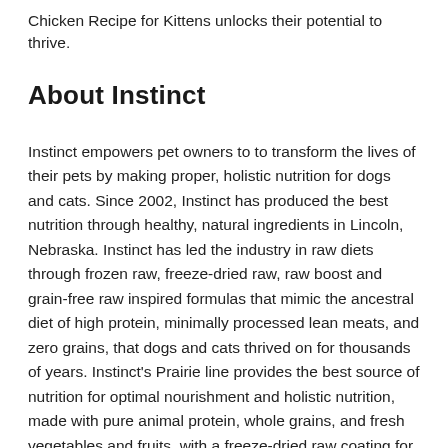Chicken Recipe for Kittens unlocks their potential to thrive.
About Instinct
Instinct empowers pet owners to to transform the lives of their pets by making proper, holistic nutrition for dogs and cats. Since 2002, Instinct has produced the best nutrition through healthy, natural ingredients in Lincoln, Nebraska. Instinct has led the industry in raw diets through frozen raw, freeze-dried raw, raw boost and grain-free raw inspired formulas that mimic the ancestral diet of high protein, minimally processed lean meats, and zero grains, that dogs and cats thrived on for thousands of years. Instinct's Prairie line provides the best source of nutrition for optimal nourishment and holistic nutrition, made with pure animal protein, whole grains, and fresh vegetables and fruits, with a freeze-dried raw coating for added nutrition and taste. Made with integrity and care in the USA, a 100% satisfaction guarantee